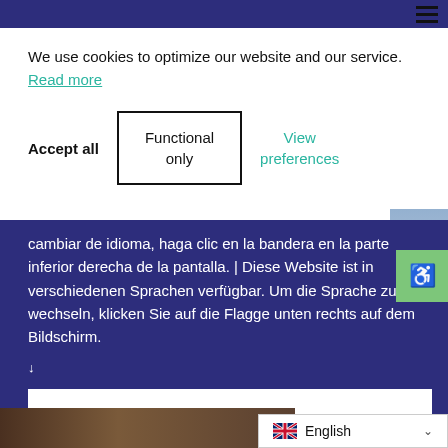We use cookies to optimize our website and our service.  Read more
Accept all
Functional only
View preferences
cambiar de idioma, haga clic en la bandera en la parte inferior derecha de la pantalla. | Diese Website ist in verschiedenen Sprachen verfügbar. Um die Sprache zu wechseln, klicken Sie auf die Flagge unten rechts auf dem Bildschirm.
Got it
English